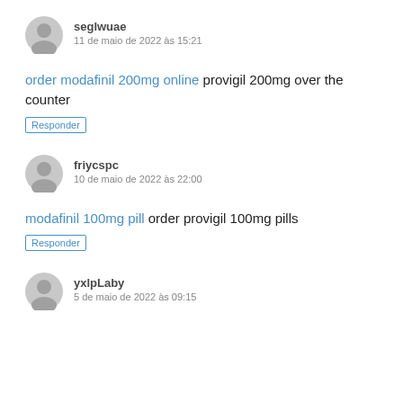seglwuae
11 de maio de 2022 às 15:21
order modafinil 200mg online provigil 200mg over the counter
Responder
friycspc
10 de maio de 2022 às 22:00
modafinil 100mg pill order provigil 100mg pills
Responder
yxlpLaby
5 de maio de 2022 às 09:15